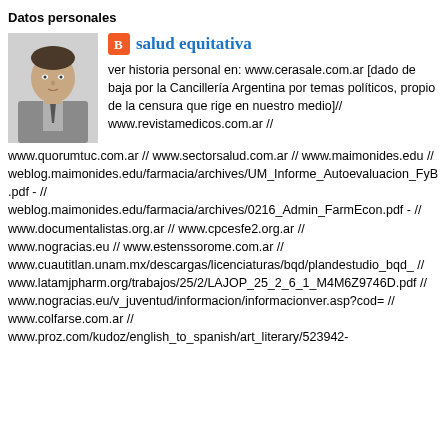Datos personales
[Figure (photo): Headshot photo of a man in a suit, thinking pose with hand near chin]
salud equitativa
ver historia personal en: www.cerasale.com.ar [dado de baja por la Cancillería Argentina por temas políticos, propio de la censura que rige en nuestro medio]// www.revistamedicos.com.ar // www.quorumtuc.com.ar // www.sectorsalud.com.ar // www.maimonides.edu // weblog.maimonides.edu/farmacia/archives/UM_Informe_Autoevaluacion_FyB.pdf - // weblog.maimonides.edu/farmacia/archives/0216_Admin_FarmEcon.pdf - // www.documentalistas.org.ar // www.cpcesfe2.org.ar // www.nogracias.eu // www.estenssorome.com.ar // www.cuautitlan.unam.mx/descargas/licenciaturas/bqd/plandestudio_bqd_ // www.latamjpharm.org/trabajos/25/2/LAJOP_25_2_6_1_M4M6Z9746D.pdf // www.nogracias.eu/v_juventud/informacion/informacionver.asp?cod= // www.colfarse.com.ar // www.proz.com/kudoz/english_to_spanish/art_literary/523942-